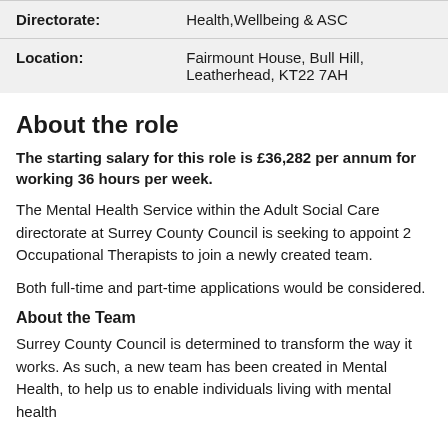| Directorate: | Health,Wellbeing & ASC |
| Location: | Fairmount House, Bull Hill, Leatherhead, KT22 7AH |
About the role
The starting salary for this role is £36,282 per annum for working 36 hours per week.
The Mental Health Service within the Adult Social Care directorate at Surrey County Council is seeking to appoint 2 Occupational Therapists to join a newly created team.
Both full-time and part-time applications would be considered.
About the Team
Surrey County Council is determined to transform the way it works. As such, a new team has been created in Mental Health, to help us to enable individuals living with mental health